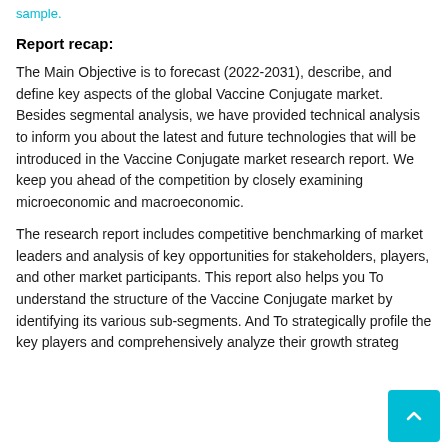sample.
Report recap:
The Main Objective is to forecast (2022-2031), describe, and define key aspects of the global Vaccine Conjugate market. Besides segmental analysis, we have provided technical analysis to inform you about the latest and future technologies that will be introduced in the Vaccine Conjugate market research report. We keep you ahead of the competition by closely examining microeconomic and macroeconomic.
The research report includes competitive benchmarking of market leaders and analysis of key opportunities for stakeholders, players, and other market participants. This report also helps you To understand the structure of the Vaccine Conjugate market by identifying its various sub-segments. And To strategically profile the key players and comprehensively analyze their growth strateg